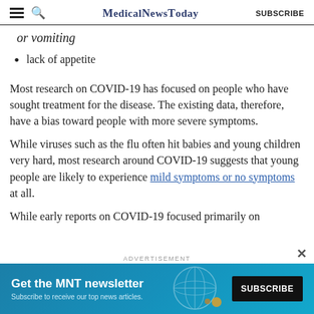MedicalNewsToday
or vomiting
lack of appetite
Most research on COVID-19 has focused on people who have sought treatment for the disease. The existing data, therefore, have a bias toward people with more severe symptoms.
While viruses such as the flu often hit babies and young children very hard, most research around COVID-19 suggests that young people are likely to experience mild symptoms or no symptoms at all.
While early reports on COVID-19 focused primarily on
[Figure (screenshot): Advertisement banner: Get the MNT newsletter. Subscribe to receive our top news articles. SUBSCRIBE button.]